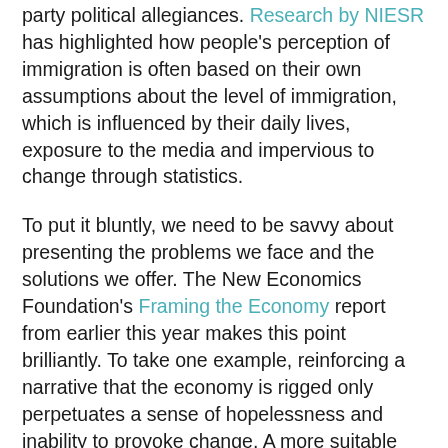party political allegiances. Research by NIESR has highlighted how people's perception of immigration is often based on their own assumptions about the level of immigration, which is influenced by their daily lives, exposure to the media and impervious to change through statistics.
To put it bluntly, we need to be savvy about presenting the problems we face and the solutions we offer. The New Economics Foundation's Framing the Economy report from earlier this year makes this point brilliantly. To take one example, reinforcing a narrative that the economy is rigged only perpetuates a sense of hopelessness and inability to provoke change. A more suitable